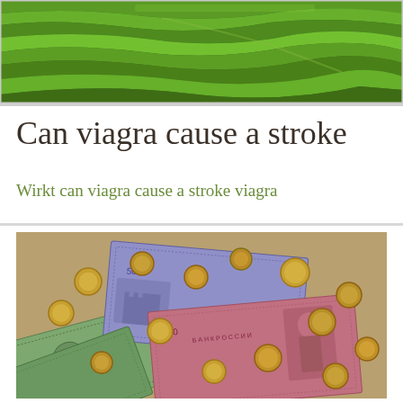[Figure (photo): Aerial view of green terraced fields or tea plantation landscape header banner]
Can viagra cause a stroke
Wirkt can viagra cause a stroke viagra
[Figure (photo): Pile of various currency banknotes (US dollars, Russian rubles) and coins scattered on a surface]